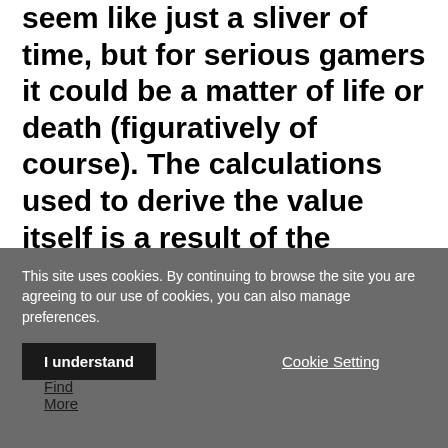seem like just a sliver of time, but for serious gamers it could be a matter of life or death (figuratively of course). The calculations used to derive the value itself is a result of the projector's resolution and refresh rate, along with the engineering of the projector. As a result, most specs that list the input lag time will also list the conditions in which that value was measured, including resolution, refresh rate, and any corresponding video modes used, all of which
This site uses cookies. By continuing to browse the site you are agreeing to our use of cookies, you can also manage preferences.
I understand
Cookie Setting
Find More